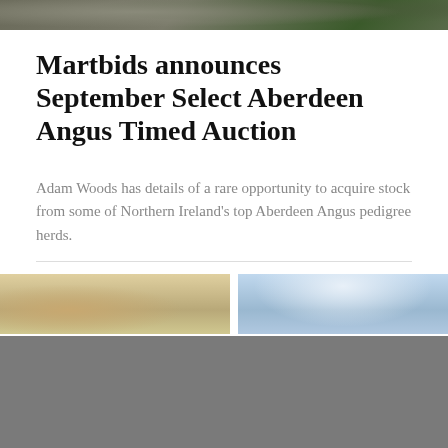[Figure (photo): Top banner photo of Aberdeen Angus cattle in a field, partially visible]
Martbids announces September Select Aberdeen Angus Timed Auction
Adam Woods has details of a rare opportunity to acquire stock from some of Northern Ireland's top Aberdeen Angus pedigree herds.
[Figure (photo): Two side-by-side photos separated by a white gap: left photo shows a light-colored animal/scene, right photo shows a blue sky with clouds]
[Figure (photo): Gray overlay section covering the lower half of the page with a white rectangular navigation box near the bottom]